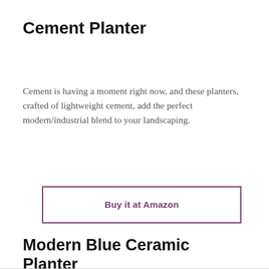Cement Planter
Cement is having a moment right now, and these planters, crafted of lightweight cement, add the perfect modern/industrial blend to your landscaping.
Buy it at Amazon
Modern Blue Ceramic Planter